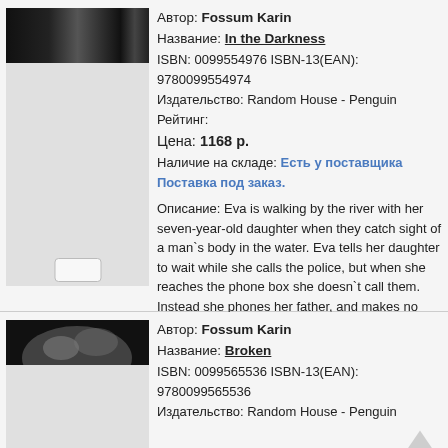[Figure (photo): Book cover for 'In the Darkness' by Fossum Karin - dark striped image]
Автор: Fossum Karin
Название: In the Darkness
ISBN: 0099554976 ISBN-13(EAN): 9780099554974
Издательство: Random House - Penguin
Рейтинг:
Цена: 1168 р.
Наличие на складе: Есть у поставщика Поставка под заказ.
Описание: Eva is walking by the river with her seven-year-old daughter when they catch sight of a man`s body in the water. Eva tells her daughter to wait while she calls the police, but when she reaches the phone box she doesn`t call them. Instead she phones her father, and makes no mention of her discovery. Until, one night, Eva receives a phone call...
[Figure (photo): Book cover for 'Broken' by Fossum Karin - dark image with figure]
Автор: Fossum Karin
Название: Broken
ISBN: 0099565536 ISBN-13(EAN): 9780099565536
Издательство: Random House - Penguin